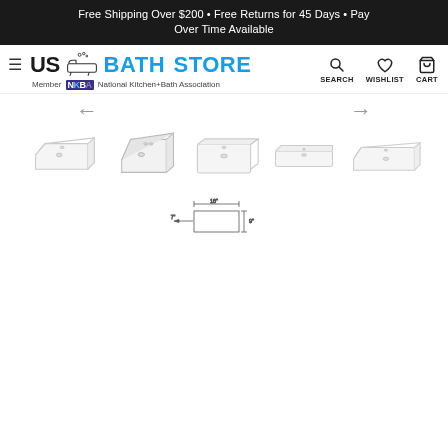Free Shipping Over $200 • Free Returns for 45 Days • Pay Over Time Available
[Figure (logo): US Bath Store logo with bathtub icon and NKBA membership badge. Navigation icons: Search, Wishlist, Cart.]
[Figure (photo): Five product thumbnail images of white ceramic bathroom sinks shown from different angles: perspective view, top-perspective, front-perspective, side view, and angled side view.]
[Figure (schematic): Technical line drawing/dimension diagram of a bathroom sink showing top and side view with measurement arrows.]